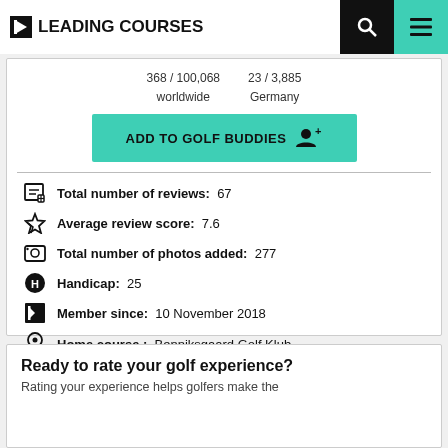LEADING COURSES
368 / 100,068 worldwide   23 / 3,885 Germany
ADD TO GOLF BUDDIES
Total number of reviews:  67
Average review score:  7.6
Total number of photos added:  277
Handicap:  25
Member since:  10 November 2018
Home course :  Benniksgaard Golf Klub
Ready to rate your golf experience?
Rating your experience helps golfers make the